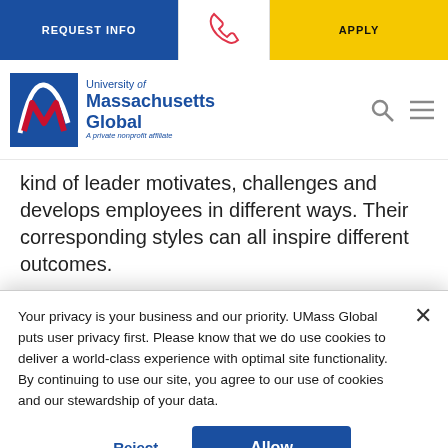REQUEST INFO | [phone] | APPLY
[Figure (logo): University of Massachusetts Global logo — red and blue stylized M with text 'University of Massachusetts Global, A private nonprofit affiliate']
kind of leader motivates, challenges and develops employees in different ways. Their corresponding styles can all inspire different outcomes.
In recent years, transformational leadership has risen to the surface. Organizations in all industries are seeing
Your privacy is your business and our priority. UMass Global puts user privacy first. Please know that we do use cookies to deliver a world-class experience with optimal site functionality. By continuing to use our site, you agree to our use of cookies and our stewardship of your data.
Reject | Allow